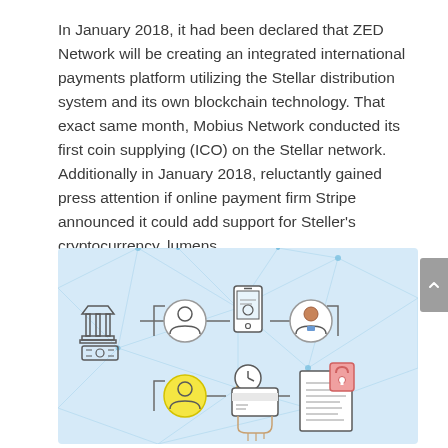In January 2018, it had been declared that ZED Network will be creating an integrated international payments platform utilizing the Stellar distribution system and its own blockchain technology. That exact same month, Mobius Network conducted its first coin supplying (ICO) on the Stellar network. Additionally in January 2018, reluctantly gained press attention if online payment firm Stripe announced it could add support for Steller's cryptocurrency, lumens.
[Figure (illustration): Infographic on light blue background showing a payments network diagram with icons: a bank building with money, a person avatar in a circle, a smartphone with payment screen, a person avatar (dark skin) in a circle, a person avatar in a yellow circle, a hand tapping a credit card with clock icon, and a document with a lock/padlock. Connected with lines representing a blockchain/payment network.]